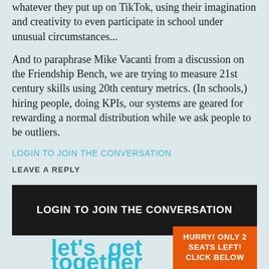whatever they put up on TikTok, using their imagination and creativity to even participate in school under unusual circumstances...
And to paraphrase Mike Vacanti from a discussion on the Friendship Bench, we are trying to measure 21st century skills using 20th century metrics. (In schools,) hiring people, doing KPIs, our systems are geared for rewarding a normal distribution while we ask people to be outliers.
LOGIN TO JOIN THE CONVERSATION
LEAVE A REPLY
LOGIN TO JOIN THE CONVERSATION
[Figure (logo): Let's get together logo in teal/cyan text at bottom left]
HURRY! ONLY 2 SEATS LEFT! CLICK BELOW